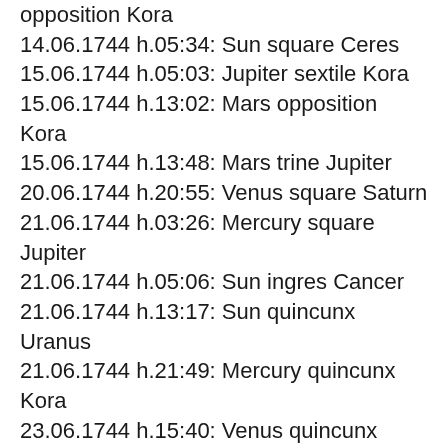opposition Kora
14.06.1744 h.05:34: Sun square Ceres
15.06.1744 h.05:03: Jupiter sextile Kora
15.06.1744 h.13:02: Mars opposition Kora
15.06.1744 h.13:48: Mars trine Jupiter
20.06.1744 h.20:55: Venus square Saturn
21.06.1744 h.03:26: Mercury square Jupiter
21.06.1744 h.05:06: Sun ingres Cancer
21.06.1744 h.13:17: Sun quincunx Uranus
21.06.1744 h.21:49: Mercury quincunx Kora
23.06.1744 h.15:40: Venus quincunx Pluto
24.06.1744 h.09:35: Sun conjunction Mercury
25.06.1744 h.20:50: Sun quincunx Kora